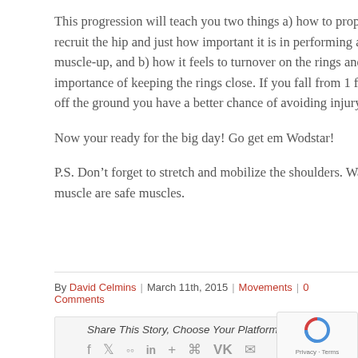This progression will teach you two things a) how to properly recruit the hip and just how important it is in performing a muscle-up, and b) how it feels to turnover on the rings and the importance of keeping the rings close. If you fall from 1 foot off the ground you have a better chance of avoiding injury.
Now your ready for the big day! Go get em Wodstar!
P.S. Don’t forget to stretch and mobilize the shoulders. Warm muscle are safe muscles.
By David Celmins | March 11th, 2015 | Movements | 0 Comments
Share This Story, Choose Your Platform!